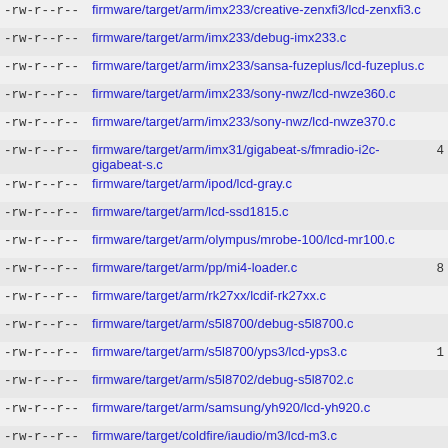-rw-r--r-- firmware/target/arm/imx233/creative-zenxfi3/lcd-zenxfi3.c
-rw-r--r-- firmware/target/arm/imx233/debug-imx233.c
-rw-r--r-- firmware/target/arm/imx233/sansa-fuzeplus/lcd-fuzeplus.c
-rw-r--r-- firmware/target/arm/imx233/sony-nwz/lcd-nwze360.c
-rw-r--r-- firmware/target/arm/imx233/sony-nwz/lcd-nwze370.c
-rw-r--r-- firmware/target/arm/imx31/gigabeat-s/fmradio-i2c-gigabeat-s.c 4
-rw-r--r-- firmware/target/arm/ipod/lcd-gray.c
-rw-r--r-- firmware/target/arm/lcd-ssd1815.c
-rw-r--r-- firmware/target/arm/olympus/mrobe-100/lcd-mr100.c
-rw-r--r-- firmware/target/arm/pp/mi4-loader.c 8
-rw-r--r-- firmware/target/arm/rk27xx/lcdif-rk27xx.c
-rw-r--r-- firmware/target/arm/s5l8700/debug-s5l8700.c
-rw-r--r-- firmware/target/arm/s5l8700/yps3/lcd-yps3.c 1
-rw-r--r-- firmware/target/arm/s5l8702/debug-s5l8702.c
-rw-r--r-- firmware/target/arm/samsung/yh920/lcd-yh920.c
-rw-r--r-- firmware/target/coldfire/iaudio/m3/lcd-m3.c
-rw-r--r-- firmware/target/coldfire/iaudio/m5/lcd-m5.c
-rw-r--r-- firmware/target/coldfire/iriver/h100/lcd-h100.c
-rw-r--r-- firmware/target/coldfire/mpio/hd300/lcd-hd300.c
-rw-r--r-- firmware/target/hosted/ibasso/pcm-ibasso.c
-rw-r--r-- firmware/target/hosted/ibasso/sysfs-ibasso.c